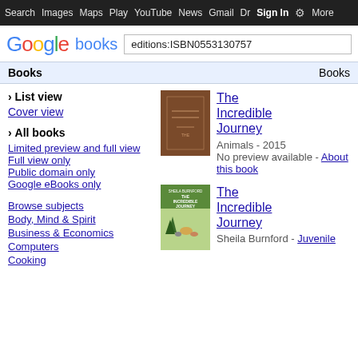Search  Images  Maps  Play  YouTube  News  Gmail  Drive  More  Sign In  ⚙
[Figure (logo): Google books logo with search box containing 'editions:ISBN0553130757']
Books    Books
› List view
Cover view
› All books
Limited preview and full view
Full view only
Public domain only
Google eBooks only
Browse subjects
Body, Mind & Spirit
Business & Economics
Computers
Cooking
[Figure (photo): Brown hardcover book - The Incredible Journey]
The Incredible Journey
Animals - 2015
No preview available - About this book
[Figure (photo): The Incredible Journey book cover with animals in forest scene]
The Incredible Journey
Sheila Burnford - Juvenile